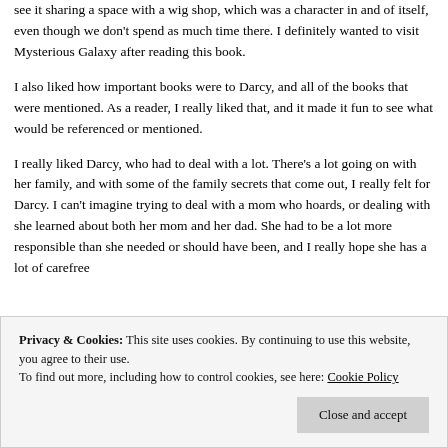see it sharing a space with a wig shop, which was a character in and of itself, even though we don't spend as much time there. I definitely wanted to visit Mysterious Galaxy after reading this book.
I also liked how important books were to Darcy, and all of the books that were mentioned. As a reader, I really liked that, and it made it fun to see what would be referenced or mentioned.
I really liked Darcy, who had to deal with a lot. There's a lot going on with her family, and with some of the family secrets that come out, I really felt for Darcy. I can't imagine trying to deal with a mom who hoards, or dealing with she learned about both her mom and her dad. She had to be a lot more responsible than she needed or should have been, and I really hope she has a lot of carefree
Privacy & Cookies: This site uses cookies. By continuing to use this website, you agree to their use.
To find out more, including how to control cookies, see here: Cookie Policy
Close and accept